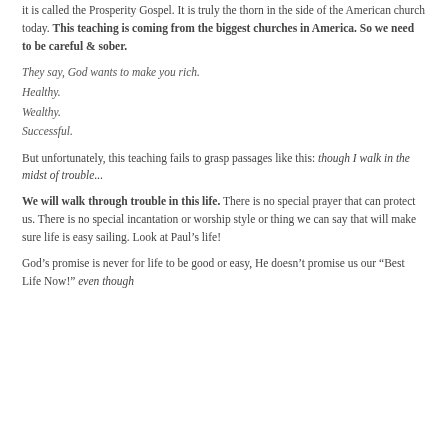it is called the Prosperity Gospel. It is truly the thorn in the side of the American church today. This teaching is coming from the biggest churches in America. So we need to be careful & sober.
They say, God wants to make you rich. Healthy. Wealthy. Successful.
But unfortunately, this teaching fails to grasp passages like this: though I walk in the midst of trouble...
We will walk through trouble in this life. There is no special prayer that can protect us. There is no special incantation or worship style or thing we can say that will make sure life is easy sailing. Look at Paul’s life!
God’s promise is never for life to be good or easy, He doesn’t promise us our “Best Life Now!” even though